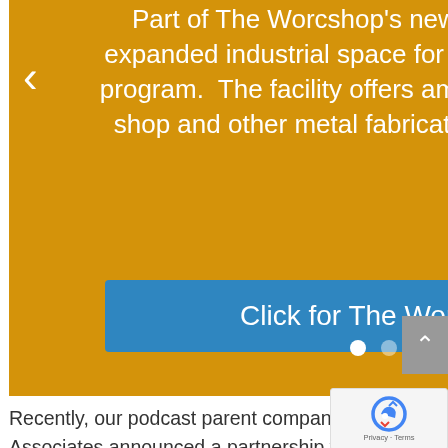[Figure (screenshot): Orange/golden slider area with text about The Worcshop's new Rochdale facility, navigation arrows, a blue call-to-action button, and dot indicators]
Part of The Worcshop's new Rochdale facility includes expanded industrial space for their forge and blacksmithing program. The facility offers ample space for a new machine shop and other metal fabrication equipment and services.
Click for The Worcshop
Recently, our podcast parent company SMGraves Associates announced a partnership with The